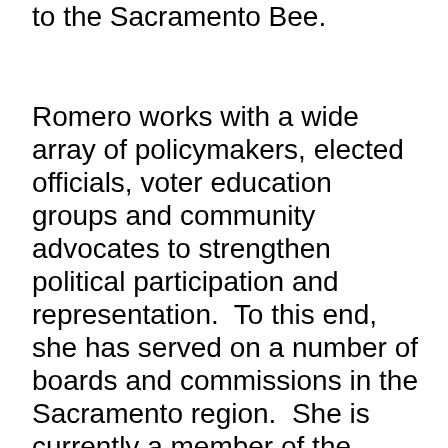in California. She is a regular op-ed contributor to the Sacramento Bee.
Romero works with a wide array of policymakers, elected officials, voter education groups and community advocates to strengthen political participation and representation.  To this end, she has served on a number of boards and commissions in the Sacramento region.  She is currently a member of the Public Policy Institute Statewide Survey Advisory Committee, President of the Board of the non-profit organization, Mutual Housing California, and Vice-Chair of the Social Services Commission for the City of Davis.